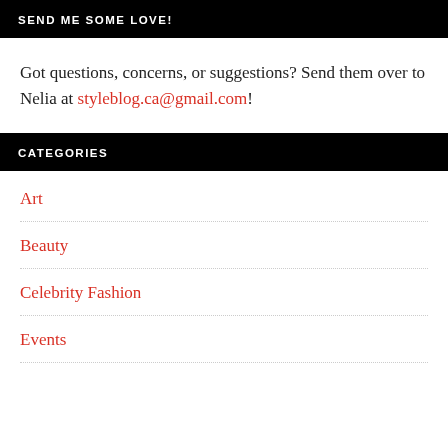SEND ME SOME LOVE!
Got questions, concerns, or suggestions? Send them over to Nelia at styleblog.ca@gmail.com!
CATEGORIES
Art
Beauty
Celebrity Fashion
Events